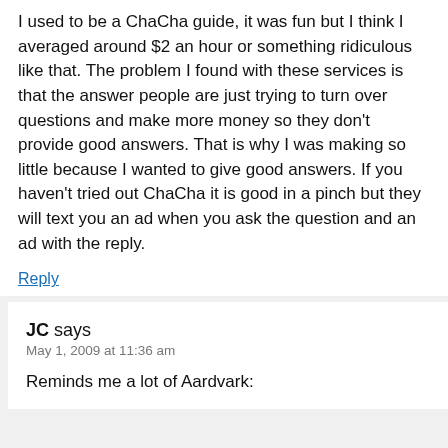I used to be a ChaCha guide, it was fun but I think I averaged around $2 an hour or something ridiculous like that. The problem I found with these services is that the answer people are just trying to turn over questions and make more money so they don't provide good answers. That is why I was making so little because I wanted to give good answers. If you haven't tried out ChaCha it is good in a pinch but they will text you an ad when you ask the question and an ad with the reply.
Reply
JC says
May 1, 2009 at 11:36 am
Reminds me a lot of Aardvark: